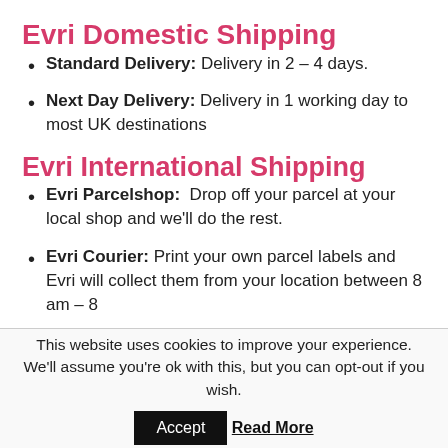Evri Domestic Shipping
Standard Delivery: Delivery in 2 – 4 days.
Next Day Delivery: Delivery in 1 working day to most UK destinations
Evri International Shipping
Evri Parcelshop:  Drop off your parcel at your local shop and we'll do the rest.
Evri Courier: Print your own parcel labels and Evri will collect them from your location between 8 am – 8
This website uses cookies to improve your experience. We'll assume you're ok with this, but you can opt-out if you wish.
Accept  Read More